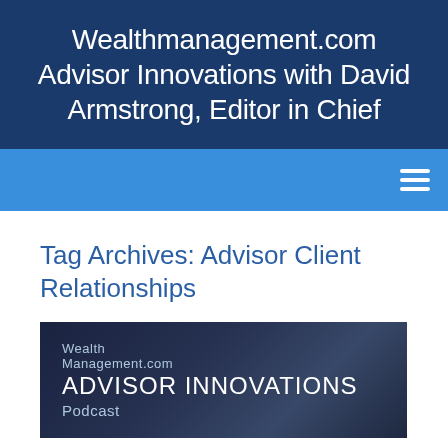Wealthmanagement.com Advisor Innovations with David Armstrong, Editor in Chief
[Figure (screenshot): Blue navigation bar with hamburger menu icon (three horizontal lines) on the right side]
Tag Archives: Advisor Client Relationships
[Figure (screenshot): Podcast thumbnail image showing 'Wealth Management.com ADVISOR INNOVATIONS Podcast' text on a dark blue background]